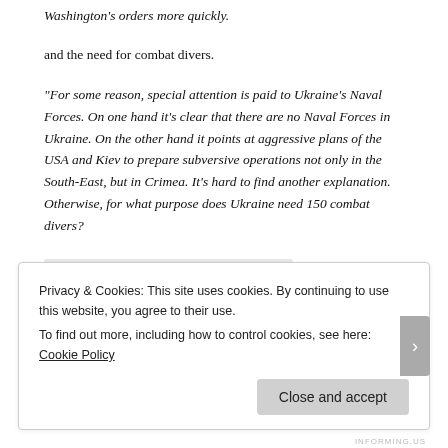Washington's orders more quickly.
and the need for combat divers.
“For some reason, special attention is paid to Ukraine's Naval Forces. On one hand it’s clear that there are no Naval Forces in Ukraine. On the other hand it points at aggressive plans of the USA and Kiev to prepare subversive operations not only in the South-East, but in Crimea. It’s hard to find another explanation. Otherwise, for what purpose does Ukraine need 150 combat divers?
Tagged Cyberberkut, Joe Biden, Wikileaks
Privacy & Cookies: This site uses cookies. By continuing to use this website, you agree to their use.
To find out more, including how to control cookies, see here: Cookie Policy
Close and accept